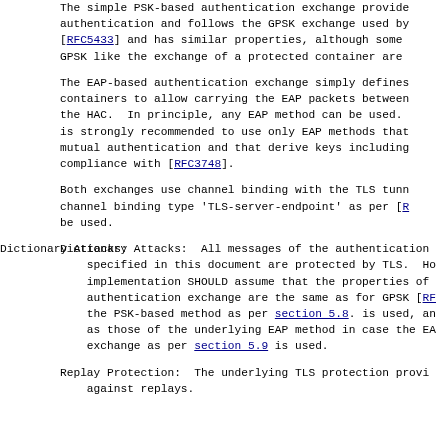The simple PSK-based authentication exchange provide authentication and follows the GPSK exchange used by [RFC5433] and has similar properties, although some GPSK like the exchange of a protected container are
The EAP-based authentication exchange simply defines containers to allow carrying the EAP packets between the HAC. In principle, any EAP method can be used. is strongly recommended to use only EAP methods that mutual authentication and that derive keys including compliance with [RFC3748].
Both exchanges use channel binding with the TLS tunn channel binding type 'TLS-server-endpoint' as per [R be used.
Dictionary Attacks: All messages of the authentication specified in this document are protected by TLS. Ho implementation SHOULD assume that the properties of authentication exchange are the same as for GPSK [RF the PSK-based method as per section 5.8. is used, an as those of the underlying EAP method in case the EA exchange as per section 5.9 is used.
Replay Protection: The underlying TLS protection provi against replays.